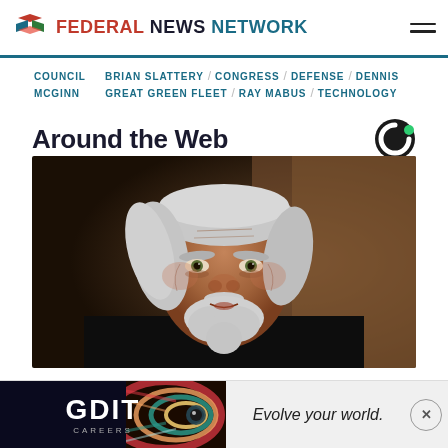FEDERAL NEWS NETWORK
COUNCIL / BRIAN SLATTERY / CONGRESS / DEFENSE / DENNIS MCGINN   GREAT GREEN FLEET / RAY MABUS / TECHNOLOGY
Around the Web
[Figure (photo): Portrait of an elderly man with white hair and beard, dark background]
[Figure (logo): Outbrain logo - dark circle with green accent]
GDIT CAREERS   Evolve your world.